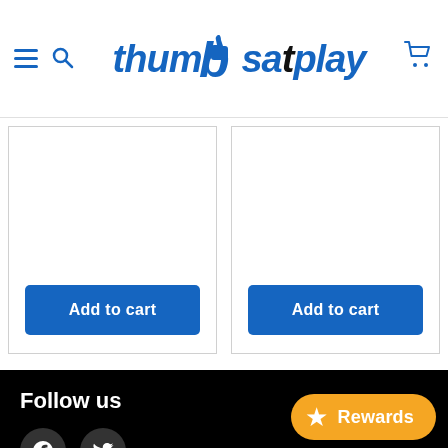thumbsatplay — navigation header with hamburger menu, search icon, logo, and cart icon
Add to cart
Add to cart
Follow us
[Figure (logo): Facebook icon circle]
[Figure (logo): Twitter/X icon circle]
Info
Shop
Rewards